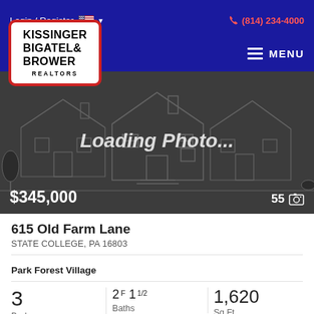Login / Register  🇺🇸 ▾   (814) 234-4000
[Figure (logo): Kissinger Bigatel & Brower Realtors logo — white box with red border, bold serif text]
[Figure (screenshot): Loading Photo... placeholder with dark background and faint house outline. Price $345,000 bottom left, 55 photos count bottom right.]
615 Old Farm Lane
STATE COLLEGE, PA 16803
Park Forest Village
3 Beds
2F 1 1/2 Baths
1,620 Sq.Ft.